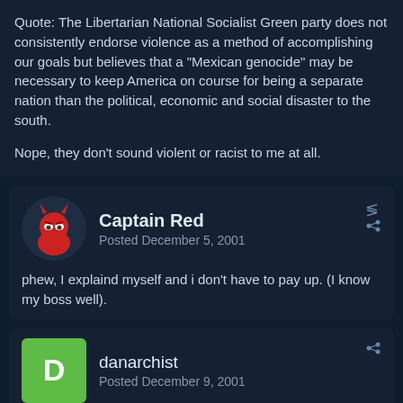Quote: The Libertarian National Socialist Green party does not consistently endorse violence as a method of accomplishing our goals but believes that a "Mexican genocide" may be necessary to keep America on course for being a separate nation than the political, economic and social disaster to the south.

Nope, they don't sound violent or racist to me at all.
Captain Red
Posted December 5, 2001
phew, I explaind myself and i don't have to pay up. (I know my boss well).
danarchist
Posted December 9, 2001
Quote
Quote: The Libertarian National Socialist Green party does not